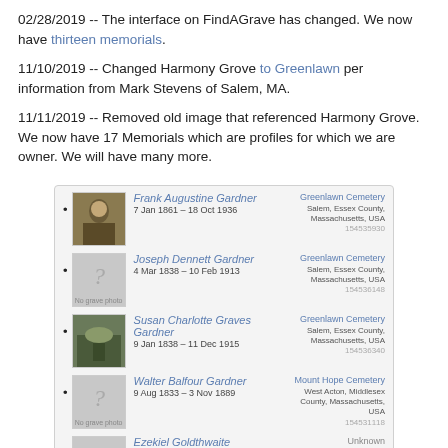02/28/2019 -- The interface on FindAGrave has changed. We now have thirteen memorials.
11/10/2019 -- Changed Harmony Grove to Greenlawn per information from Mark Stevens of Salem, MA.
11/11/2019 -- Removed old image that referenced Harmony Grove. We now have 17 Memorials which are profiles for which we are owner. We will have many more.
[Figure (screenshot): Screenshot of FindAGrave memorial list showing entries: Frank Augustine Gardner (7 Jan 1861 - 18 Oct 1936, Greenlawn Cemetery, Salem, Essex County, Massachusetts, USA, 154535930), Joseph Dennett Gardner (4 Mar 1838 - 10 Feb 1913, Greenlawn Cemetery, Salem, Essex County, Massachusetts, USA, 154536148), Susan Charlotte Graves Gardner (9 Jan 1838 - 11 Dec 1915, Greenlawn Cemetery, Salem, Essex County, Massachusetts, USA, 154536340), Walter Balfour Gardner (9 Aug 1833 - 3 Nov 1889, Mount Hope Cemetery, West Acton, Middlesex County, Massachusetts, USA, 154531118), Ezekiel Goldthwaite (18 Oct 1748 - 18 Jun 1800, Unknown, 166518833)]